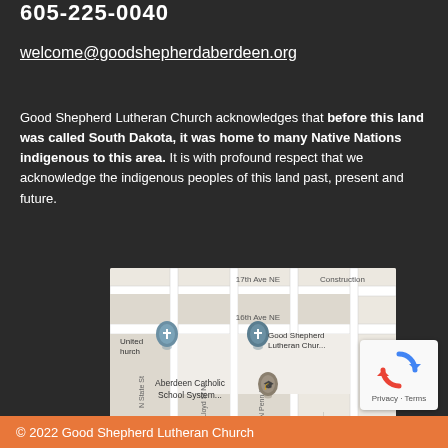605-225-0040
welcome@goodshepherdaberdeen.org
Good Shepherd Lutheran Church acknowledges that before this land was called South Dakota, it was home to many Native Nations indigenous to this area. It is with profound respect that we acknowledge the indigenous peoples of this land past, present and future.
[Figure (map): Google Maps screenshot showing location of Good Shepherd Lutheran Church in Aberdeen, SD near intersection of 16th Ave NE. Shows United Church, Good Shepherd Lutheran Church, and Aberdeen Catholic School System markers.]
[Figure (other): reCAPTCHA badge with Privacy and Terms text]
© 2022 Good Shepherd Lutheran Church